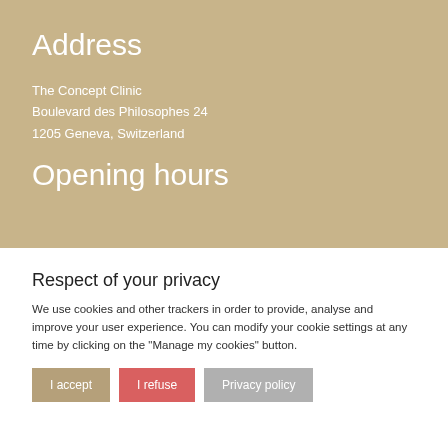Address
The Concept Clinic
Boulevard des Philosophes 24
1205 Geneva, Switzerland
Opening hours
Respect of your privacy
We use cookies and other trackers in order to provide, analyse and improve your user experience. You can modify your cookie settings at any time by clicking on the "Manage my cookies" button.
I accept
I refuse
Privacy policy